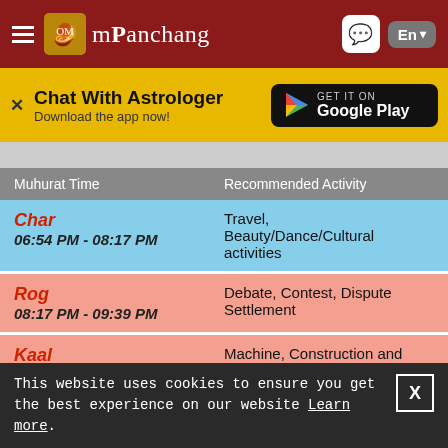mPanchang
Chat With Astrologer
Download the app now!
| Muhurat Time | Recommended Activity |
| --- | --- |
| Char 06:54 PM - 08:17 PM | Travel, Beauty/Dance/Cultural activities |
| Rog 08:17 PM - 09:39 PM | Debate, Contest, Dispute Settlement |
| Kaal 09:39 PM - 11:02 PM | Machine, Construction and Agriculture related activities |
| Labh Kaal Ratri | Start new business, |
This website uses cookies to ensure you get the best experience on our website Learn more.